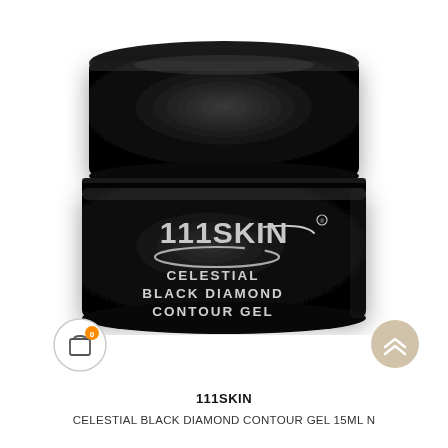[Figure (photo): 111SKIN Celestial Black Diamond Contour Gel product jar — a sleek, black glossy cosmetic jar with lid, displaying the 111SKIN logo and 'CELESTIAL BLACK DIAMOND CONTOUR GEL' text on the label, against a white background.]
[Figure (other): Shopping cart icon with orange badge showing '0' count, and a scroll-to-top circular button with chevron arrows on the right side.]
111SKIN
CELESTIAL BLACK DIAMOND CONTOUR GEL 15ML N